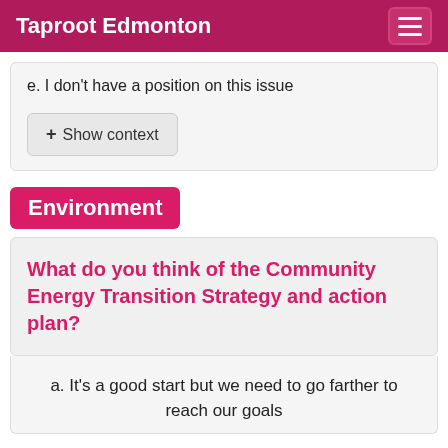Taproot Edmonton
e. I don't have a position on this issue
+ Show context
Environment
What do you think of the Community Energy Transition Strategy and action plan?
a. It's a good start but we need to go farther to reach our goals